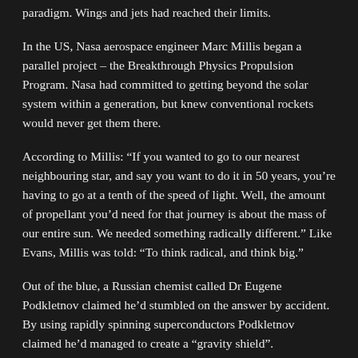paradigm. Wings and jets had reached their limits.
In the US, Nasa aerospace engineer Marc Millis began a parallel project – the Breakthrough Physics Propulsion Program. Nasa had committed to getting beyond the solar system within a generation, but knew conventional rockets would never get them there.
According to Millis: “If you wanted to go to our nearest neighbouring star, and say you want to do it in 50 years, you’re having to go at a tenth of the speed of light. Well, the amount of propellant you’d need for that journey is about the mass of our entire sun. We needed something radically different.” Like Evans, Millis was told: “To think radical, and think big.”
Out of the blue, a Russian chemist called Dr Eugene Podkletnov claimed he’d stumbled on the answer by accident. By using rapidly spinning superconductors Podkletnov claimed he’d managed to create a “gravity shield”.
Around the world, gravity labs like Greenglow and Nasa jumped on the news and tried to replicate Podkletnov’s “breakthrough”. They